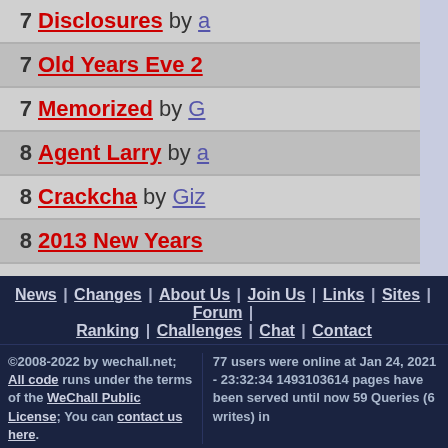7 Disclosures by ...
7 Old Years Eve 2...
7 Memorized by G...
8 Agent Larry by ...
8 Crackcha by Giz...
8 2013 New Years...
9 The BrownOS b...
News | Changes | About Us | Join Us | Links | Sites | Forum | Ranking | Challenges | Chat | Contact
©2008-2022 by wechall.net; All code runs under the terms of the WeChall Public License; You can contact us here.
77 users were online at Jan 24, 2021 - 23:32:34 1493103614 pages have been served until now 59 Queries (6 writes) in